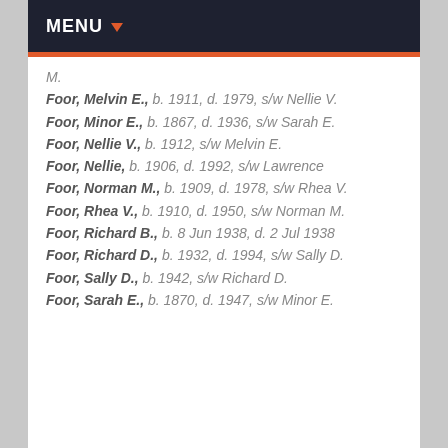MENU
M.
Foor, Melvin E., b. 1911, d. 1979, s/w Nellie V.
Foor, Minor E., b. 1867, d. 1936, s/w Sarah E.
Foor, Nellie V., b. 1912, s/w Melvin E.
Foor, Nellie, b. 1906, d. 1992, s/w Lawrence
Foor, Norman M., b. 1909, d. 1978, s/w Rhea V.
Foor, Rhea V., b. 1910, d. 1950, s/w Norman M.
Foor, Richard B., b. 8 Jun 1938, d. 2 Jul 1938
Foor, Richard D., b. 1932, d. 1994, s/w Sally D.
Foor, Sally D., b. 1942, s/w Richard D.
Foor, Sarah E., b. 1870, d. 1947, s/w Minor E.